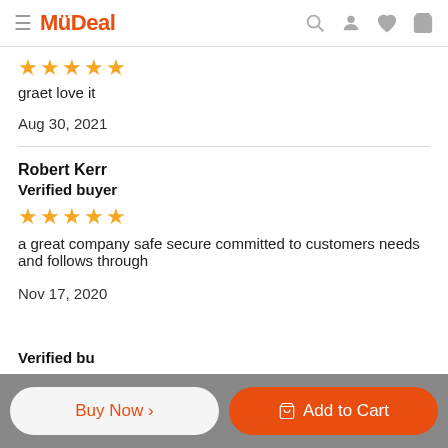MyDeal
★★★★★
graet love it
Aug 30, 2021
Robert Kerr
Verified buyer
★★★★★
a great company safe secure committed to customers needs and follows through

Nov 17, 2020
Verified bu…